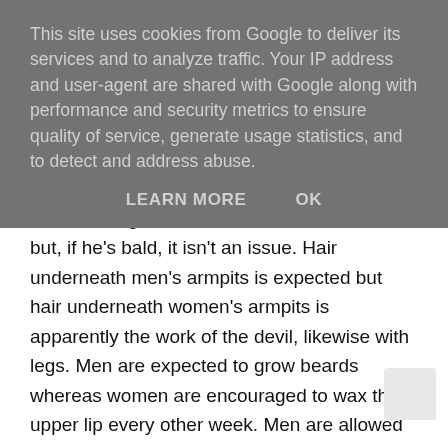This site uses cookies from Google to deliver its services and to analyze traffic. Your IP address and user-agent are shared with Google along with performance and security metrics to ensure quality of service, generate usage statistics, and to detect and address abuse.
LEARN MORE   OK
it'd be strange. Hair on a man's head is cool but, if he's bald, it isn't an issue. Hair underneath men's armpits is expected but hair underneath women's armpits is apparently the work of the devil, likewise with legs. Men are expected to grow beards whereas women are encouraged to wax their upper lip every other week. Men are allowed to have unruly genital hair and women don't utter a word whereas women are expected to either have perfectly groomed, very little or, more often than not, absolutely no pubic hair whatsoever. Isn't that crazy, how the standards set regarding men and body hair are so low yet women are expected to be totally hair-free human